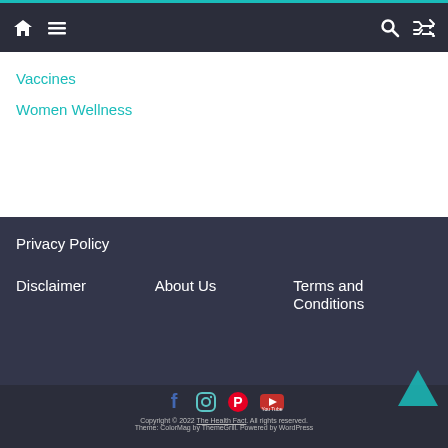Navigation bar with home icon, menu icon, search icon, shuffle icon
Vaccines
Women Wellness
Privacy Policy
Disclaimer
About Us
Terms and Conditions
Copyright © 2022 The Health Fact. All rights reserved. Theme: ColorMag by ThemeGrill. Powered by WordPress